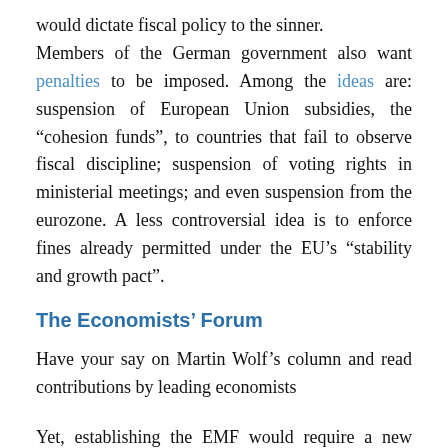would dictate fiscal policy to the sinner. Members of the German government also want penalties to be imposed. Among the ideas are: suspension of European Union subsidies, the “cohesion funds”, to countries that fail to observe fiscal discipline; suspension of voting rights in ministerial meetings; and even suspension from the eurozone. A less controversial idea is to enforce fines already permitted under the EU’s “stability and growth pact”.
The Economists’ Forum
Have your say on Martin Wolf’s column and read contributions by leading economists
Yet, establishing the EMF would require a new treaty, as would exclusion from eurozone institutions (while a